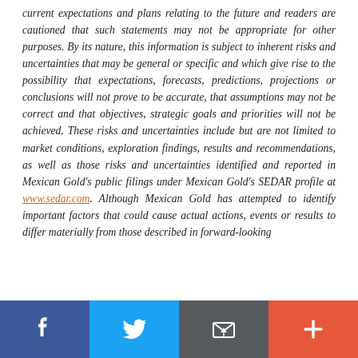current expectations and plans relating to the future and readers are cautioned that such statements may not be appropriate for other purposes. By its nature, this information is subject to inherent risks and uncertainties that may be general or specific and which give rise to the possibility that expectations, forecasts, predictions, projections or conclusions will not prove to be accurate, that assumptions may not be correct and that objectives, strategic goals and priorities will not be achieved. These risks and uncertainties include but are not limited to market conditions, exploration findings, results and recommendations, as well as those risks and uncertainties identified and reported in Mexican Gold's public filings under Mexican Gold's SEDAR profile at www.sedar.com. Although Mexican Gold has attempted to identify important factors that could cause actual actions, events or results to differ materially from those described in forward-looking
[Figure (other): Social sharing bar with four buttons: Facebook (blue), Twitter (light blue), Email/share (dark grey), and More/plus (orange-red)]